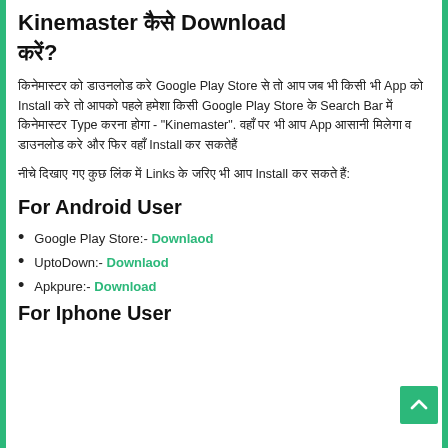Kinemaster कैसे Download करें?
किनेमास्टर को डाउनलोड करे Google Play Store से तो आप जब भी किसी भी App को Install करे तो आपको पहले हमेशा किसी Google Play Store के Search Bar में किनेमास्टर Type करना होगा - "Kinemaster". वहाँ पर भी आप App आसानी मिलेगा व डाउनलोड करे और फिर वहाँ Install कर सकतेहैं
नीचे दिखाए गए कुछ लिंक में Links के जरिए भी आप Install कर सकते हैं:
For Android User
Google Play Store:- Downlaod
UptoDown:- Downlaod
Apkpure:- Download
For Iphone User